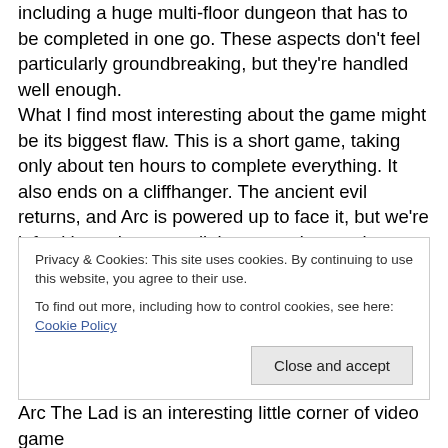including a huge multi-floor dungeon that has to be completed in one go. These aspects don't feel particularly groundbreaking, but they're handled well enough. What I find most interesting about the game might be its biggest flaw. This is a short game, taking only about ten hours to complete everything. It also ends on a cliffhanger. The ancient evil returns, and Arc is powered up to face it, but we're left with our heroes splitting up and preparing rather than getting that final dungeon. Now that the series is finished, that break feels more like the first part of a
Privacy & Cookies: This site uses cookies. By continuing to use this website, you agree to their use.
To find out more, including how to control cookies, see here: Cookie Policy
Arc The Lad is an interesting little corner of video game